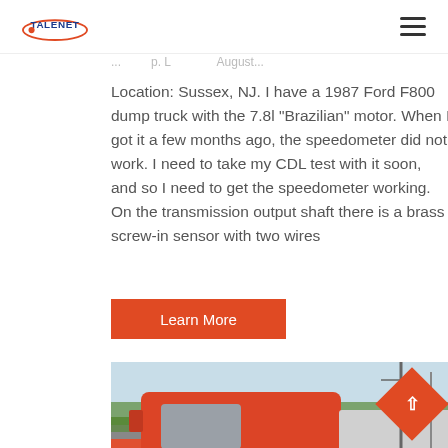TALENET
Location: Sussex, NJ. I have a 1987 Ford F800 dump truck with the 7.8l "Brazilian" motor. When I got it a few months ago, the speedometer did not work. I need to take my CDL test with it soon, and so I need to get the speedometer working. On the transmission output shaft there is a brass screw-in sensor with two wires
Learn More
[Figure (photo): Red semi truck / dump truck cab photographed outdoors with trees and utility poles in background]